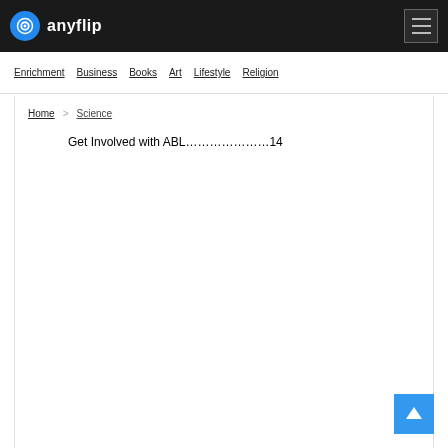anyflip
Enrichment | Business | Books | Art | Lifestyle | Religion
Home > Science
Get Involved with ABL…………………14